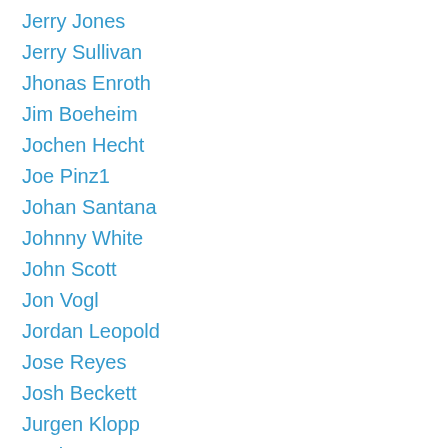Jerry Jones
Jerry Sullivan
Jhonas Enroth
Jim Boeheim
Jochen Hecht
Joe Pinz1
Johan Santana
Johnny White
John Scott
Jon Vogl
Jordan Leopold
Jose Reyes
Josh Beckett
Jurgen Klopp
Justin Rogers
Kawika Mitchell
Kelly's NYC
Kelvin Sheppard
Kevin Durant
Kevin Youkilis
Khal Drogo